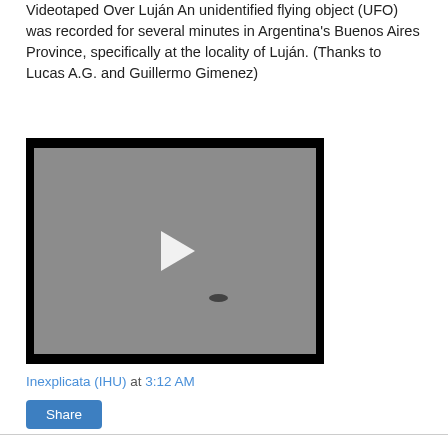Videotaped Over Luján An unidentified flying object (UFO) was recorded for several minutes in Argentina's Buenos Aires Province, specifically at the locality of Luján. (Thanks to Lucas A.G. and Guillermo Gimenez)
[Figure (screenshot): Video player showing a gray sky with a small dark UFO dot visible, and a white play button triangle in the center. Black bars at top and bottom.]
Inexplicata (IHU) at 3:12 AM
Share
Tuesday, December 09, 2008
From the Vault: The Varginha Case-A